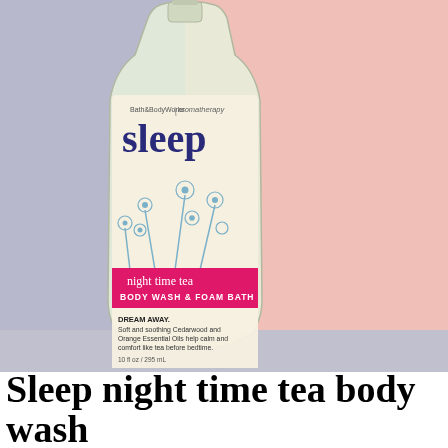[Figure (photo): A clear glass bottle of Bath & Body Works Aromatherapy Sleep Night Time Tea Body Wash & Foam Bath (10 fl oz / 295 mL). The bottle has a cream/white label with blue floral illustrations and a hot pink band reading 'night time tea BODY WASH & FOAM BATH'. Text on label: DREAM AWAY. Soft and soothing Cedarwood and Orange Essential Oils help calm and comfort like tea before bedtime. The bottle sits against a background that is lavender/grey on the left and pink on the right.]
Sleep night time tea body wash